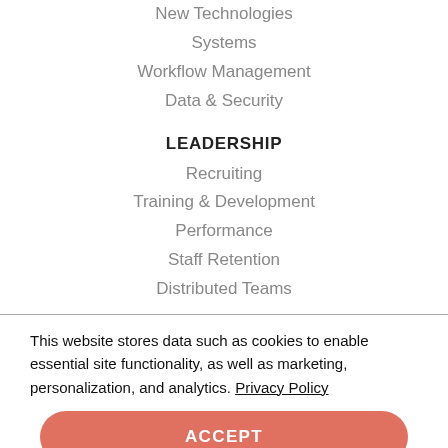New Technologies
Systems
Workflow Management
Data & Security
LEADERSHIP
Recruiting
Training & Development
Performance
Staff Retention
Distributed Teams
This website stores data such as cookies to enable essential site functionality, as well as marketing, personalization, and analytics. Privacy Policy
ACCEPT
DENY